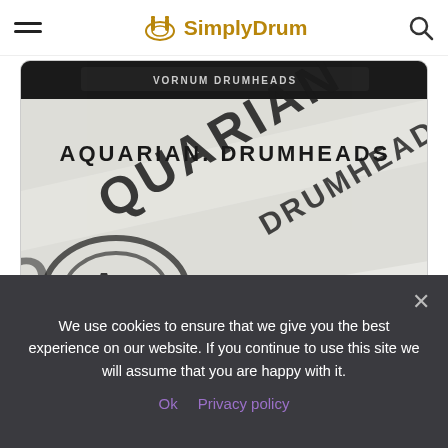SimplyDrum
[Figure (photo): Close-up photo of Aquarian Drumheads product packaging/drumhead showing the AQUARIAN DRUMHEADS logo text horizontally and diagonally on a white surface]
Batter/Resonant: Batter
Size: 22″
Clear/Coated: Clear
We use cookies to ensure that we give you the best experience on our website. If you continue to use this site we will assume that you are happy with it.
Ok  Privacy policy